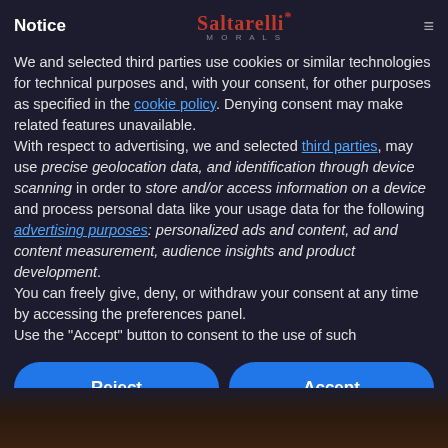Notice  Saltarelli*  MORALS
We and selected third parties use cookies or similar technologies for technical purposes and, with your consent, for other purposes as specified in the cookie policy. Denying consent may make related features unavailable.
With respect to advertising, we and selected third parties, may use precise geolocation data, and identification through device scanning in order to store and/or access information on a device and process personal data like your usage data for the following advertising purposes: personalized ads and content, ad and content measurement, audience insights and product development.
You can freely give, deny, or withdraw your consent at any time by accessing the preferences panel.
Use the "Accept" button to consent to the use of such
Reject
Accept
Learn more and customize